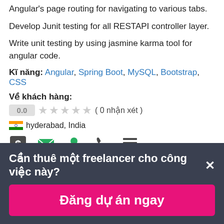Angular's page routing for navigating to various tabs.
Develop Junit testing for all RESTAPI controller layer.
Write unit testing by using jasmine karma tool for angular code.
Kĩ năng: Angular, Spring Boot, MySQL, Bootstrap, CSS
Về khách hàng:
0.0 ★★★★★ ( 0 nhận xét )
🇮🇳 hyderabad, India
Cần thuê một freelancer cho công việc này? ×
Đăng dự án ngay